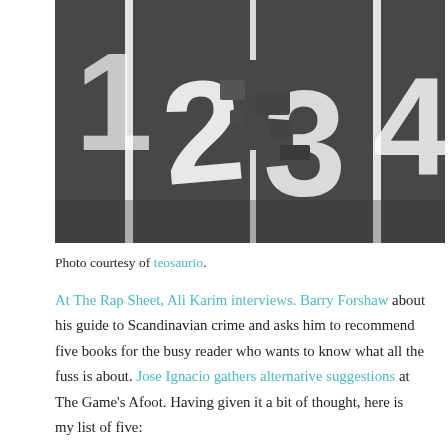[Figure (photo): Aerial view of road lane markings showing numbers 2, 3, 4 painted in white on dark asphalt, with white lane divider lines]
Photo courtesy of teosaurio.
At The Rap Sheet, Ali Karim interviews. Barry Forshaw about his guide to Scandinavian crime and asks him to recommend five books for the busy reader who wants to know what all the fuss is about. Jose Ignacio gathers alternative suggestions at The Game's Afoot. Having given it a bit of thought, here is my list of five: